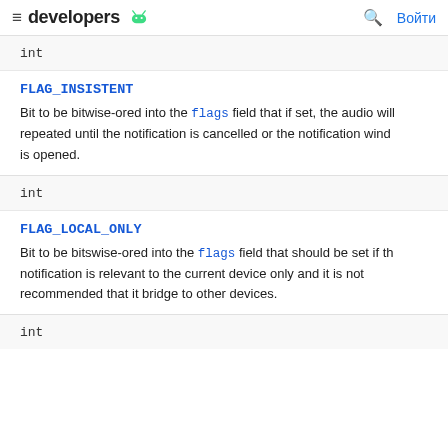developers [android logo] | search | Войти
int
FLAG_INSISTENT
Bit to be bitwise-ored into the flags field that if set, the audio will repeated until the notification is cancelled or the notification wind is opened.
int
FLAG_LOCAL_ONLY
Bit to be bitswise-ored into the flags field that should be set if th notification is relevant to the current device only and it is not recommended that it bridge to other devices.
int